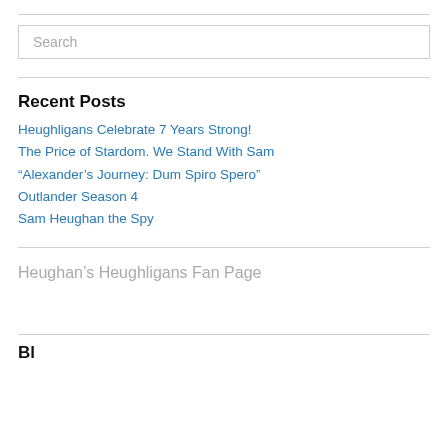[Figure (other): Search input box with placeholder text 'Search']
Recent Posts
Heughligans Celebrate 7 Years Strong!
The Price of Stardom. We Stand With Sam
“Alexander’s Journey: Dum Spiro Spero”
Outlander Season 4
Sam Heughan the Spy
Heughan’s Heughligans Fan Page
Bl…